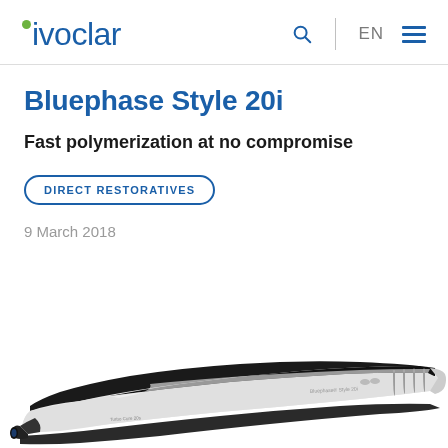ivoclar
Bluephase Style 20i
Fast polymerization at no compromise
DIRECT RESTORATIVES
9 March 2018
[Figure (photo): Bluephase Style 20i polymerization light device shown at an angle, white and black colored curing light unit with brand text on body]